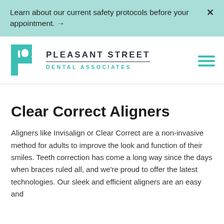Learn about our current safety protocols before your appointment. →
[Figure (logo): Pleasant Street Dental Associates logo with teal letter P containing a tooth graphic, and the practice name in bold uppercase text]
Clear Correct Aligners
Aligners like Invisalign or Clear Correct are a non-invasive method for adults to improve the look and function of their smiles. Teeth correction has come a long way since the days when braces ruled all, and we're proud to offer the latest technologies. Our sleek and efficient aligners are an easy and